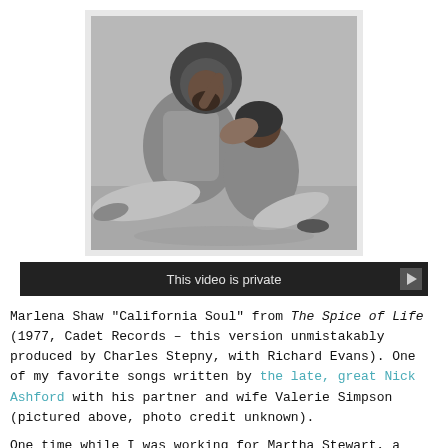[Figure (photo): Black and white photograph of two people seated on the floor together — a man with a large afro and beard in a light jacket, and a woman leaning against him with her head on his shoulder. Likely Ashford & Simpson.]
[Figure (screenshot): Dark video player bar reading 'This video is private' with a play button on the right.]
Marlena Shaw "California Soul" from The Spice of Life (1977, Cadet Records – this version unmistakably produced by Charles Stepny, with Richard Evans). One of my favorite songs written by the late, great Nick Ashford with his partner and wife Valerie Simpson (pictured above, photo credit unknown).
One time while I was working for Martha Stewart, a